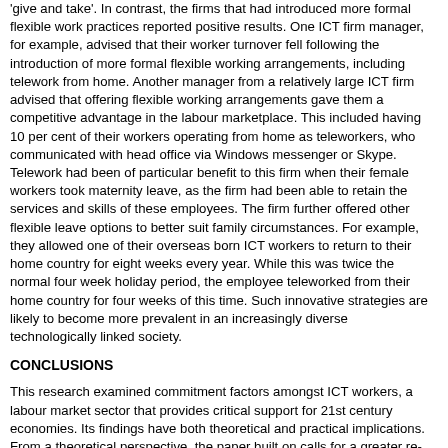'give and take'. In contrast, the firms that had introduced more formal flexible work practices reported positive results. One ICT firm manager, for example, advised that their worker turnover fell following the introduction of more formal flexible working arrangements, including telework from home. Another manager from a relatively large ICT firm advised that offering flexible working arrangements gave them a competitive advantage in the labour marketplace. This included having 10 per cent of their workers operating from home as teleworkers, who communicated with head office via Windows messenger or Skype. Telework had been of particular benefit to this firm when their female workers took maternity leave, as the firm had been able to retain the services and skills of these employees. The firm further offered other flexible leave options to better suit family circumstances. For example, they allowed one of their overseas born ICT workers to return to their home country for eight weeks every year. While this was twice the normal four week holiday period, the employee teleworked from their home country for four weeks of this time. Such innovative strategies are likely to become more prevalent in an increasingly diverse technologically linked society.
CONCLUSIONS
This research examined commitment factors amongst ICT workers, a labour market sector that provides critical support for 21st century economies. Its findings have both theoretical and practical implications. From a theoretical perspective, the paper built on calls for a greater re-examination of the impact and role of employee normative commitment, by focusing on the important role that normative factors may play in supporting and promoting positive ICT worker commitment in terms of their sense of duty and/or obligation to their organisations. The findings in turn provided some interesting grounds for conjecture.